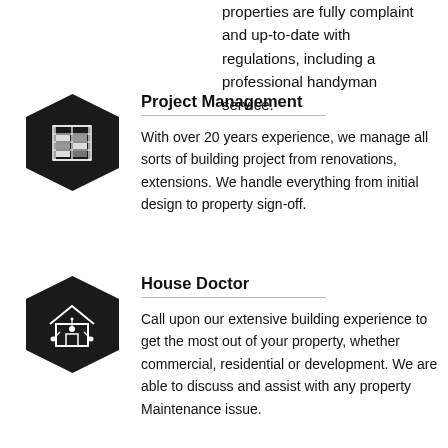properties are fully complaint and up-to-date with regulations, including a professional handyman service.
[Figure (illustration): Black hexagon icon with a grid/schedule graphic inside]
Project Management
With over 20 years experience, we manage all sorts of building project from renovations, extensions. We handle everything from initial design to property sign-off.
[Figure (illustration): Black hexagon icon with a house and connectivity/smart home symbol inside]
House Doctor
Call upon our extensive building experience to get the most out of your property, whether commercial, residential or development. We are able to discuss and assist with any property Maintenance issue.